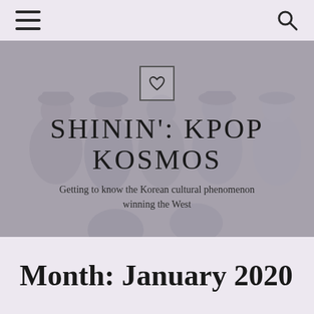☰ [menu icon] | [search icon]
[Figure (photo): Grayscale photo of a group of people walking, used as hero banner background for the blog SHININ': KPOP KOSMOS]
SHININ': KPOP KOSMOS
Getting to know the Korean cultural phenomenon winning the West
Month: January 2020